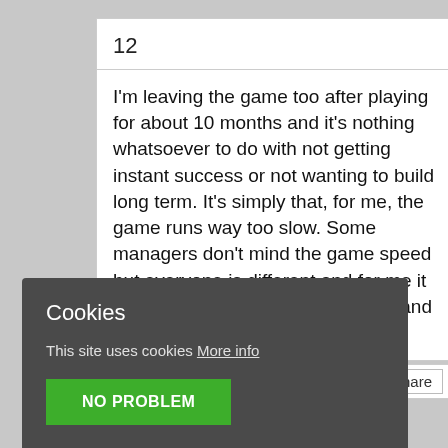12
I'm leaving the game too after playing for about 10 months and it's nothing whatsoever to do with not getting instant success or not wanting to build long term. It's simply that, for me, the game runs way too slow. Some managers don't mind the game speed but everyone is different and for me it takes away a lot of the enjoyment and passion for it. Good luck all!
Share
Cookies
This site uses cookies More info
NO PROBLEM